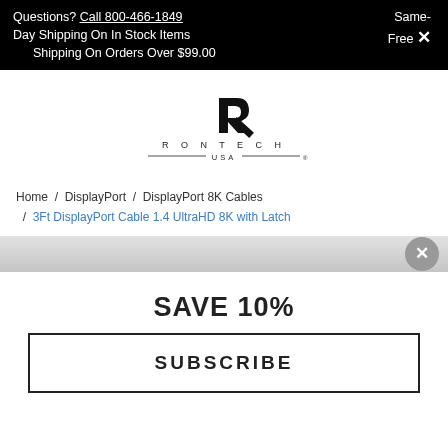Questions? Call 800-466-1849 Same-Day Shipping On In Stock Items Free Shipping On Orders Over $99.00
[Figure (logo): Rontech USA logo with stylized R letter mark]
Home / DisplayPort / DisplayPort 8K Cables / 3Ft DisplayPort Cable 1.4 UltraHD 8K with Latch
SAVE 10%
SUBSCRIBE